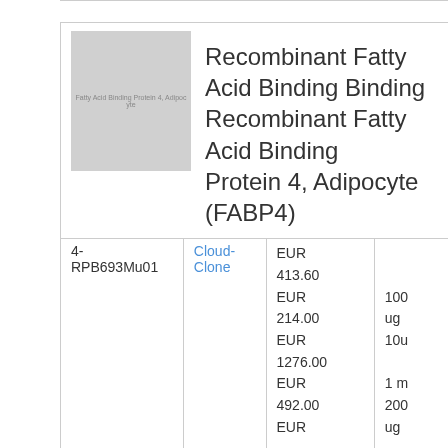[Figure (photo): Placeholder image for Fatty Acid Binding Protein 4, Adipocyte with label text overlay]
Recombinant Fatty Acid Binding Protein 4, Adipocyte (FABP4)
|  |  | Price | Quantity |
| --- | --- | --- | --- |
| 4-RPB693Mu01 | Cloud-Clone | EUR 413.60
EUR 214.00
EUR 1276.00
EUR 492.00
EUR | 100 ug
10u
1 m
200 ug
500 |